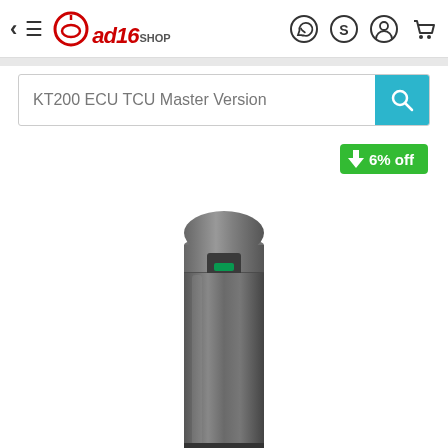ad16shop navigation header with back arrow, hamburger menu, logo, and icons for WhatsApp, Skype, account, and cart
KT200 ECU TCU Master Version
[Figure (other): Green discount badge showing '6% off' with a downward arrow]
[Figure (photo): Close-up photo of a dark gray/black cylindrical automotive diagnostic tool (KT200) showing the top end with a rounded cap and a small green LED or connector visible]